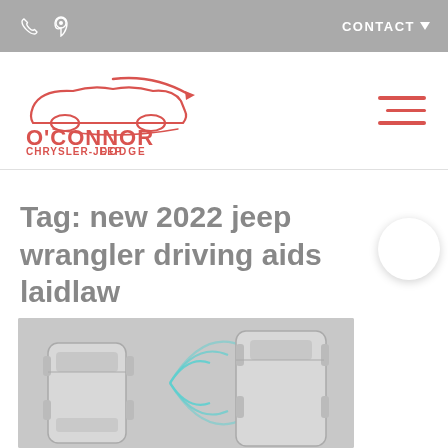CONTACT
[Figure (logo): O'Connor Dodge Chrysler-Jeep dealership logo with red car silhouette and red text]
Tag: new 2022 jeep wrangler driving aids laidlaw
[Figure (illustration): Top-down view illustration of two SUVs with cyan radar/sensor arcs between them, on a gray background]